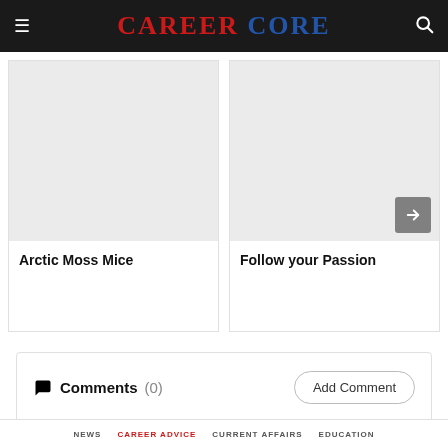CAREER CORE
[Figure (photo): Gray placeholder image for Arctic Moss Mice article card]
Arctic Moss Mice
[Figure (photo): Gray placeholder image for Follow your Passion article card with arrow navigation button]
Follow your Passion
Comments (0)
Add Comment
NEWS  CAREER ADVICE  CURRENT AFFAIRS  EDUCATION